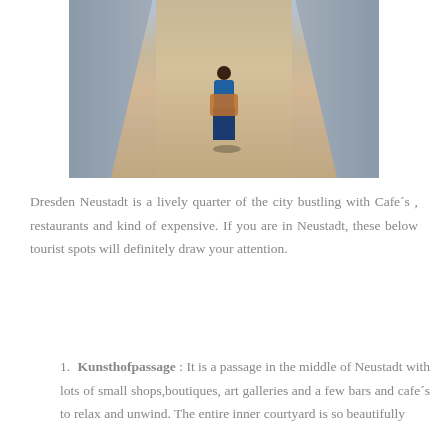[Figure (photo): A woman standing on a bridge walkway, wearing blue jeans, a blue top, and a brown jacket, carrying a bag. The bridge has railings on both sides and the photo is taken in bright sunlight.]
Dresden Neustadt is a lively quarter of the city bustling with Cafe´s , restaurants and kind of expensive. If you are in Neustadt, these below tourist spots will definitely draw your attention.
Kunsthofpassage : It is a passage in the middle of Neustadt with lots of small shops,boutiques, art galleries and a few bars and cafe´s to relax and unwind. The entire inner courtyard is so beautifully